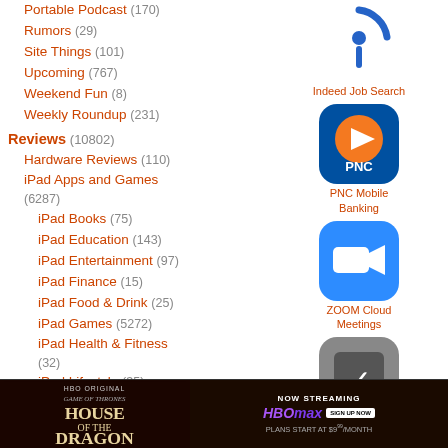Portable Podcast (170)
Rumors (29)
Site Things (101)
Upcoming (767)
Weekend Fun (8)
Weekly Roundup (231)
Reviews (10802)
Hardware Reviews (110)
iPad Apps and Games (6287)
iPad Books (75)
iPad Education (143)
iPad Entertainment (97)
iPad Finance (15)
iPad Food & Drink (25)
iPad Games (5272)
iPad Health & Fitness (32)
iPad Lifestyle (35)
iPad Medical (4)
iPad Music (72)
[Figure (logo): Indeed Job Search app icon]
Indeed Job Search
[Figure (logo): PNC Mobile Banking app icon]
PNC Mobile Banking
[Figure (logo): ZOOM Cloud Meetings app icon]
ZOOM Cloud Meetings
[Figure (logo): Third app icon partially visible]
[Figure (screenshot): HBO Max House of the Dragon ad banner]